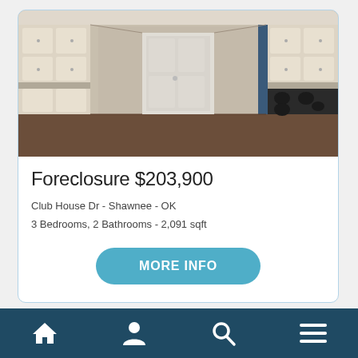[Figure (photo): Interior kitchen photo showing white cabinets, a door at the end of the galley, and a gas stovetop on the right]
Foreclosure $203,900
Club House Dr - Shawnee - OK
3 Bedrooms, 2 Bathrooms - 2,091 sqft
MORE INFO
Navigation bar with home, person, search, and menu icons